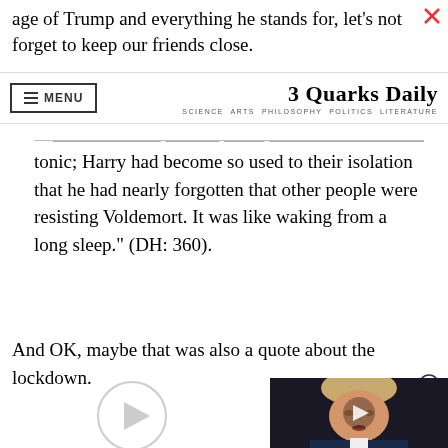age of Trump and everything he stands for, let’s not forget to keep our friends close.
3 Quarks Daily — SCIENCE ARTS PHILOSOPHY POLITICS LITERATURE
tonic; Harry had become so used to their isolation that he had nearly forgotten that other people were resisting Voldemort. It was like waking from a long sleep.” (DH: 360).
And OK, maybe that was also a quote about the lockdown.
[Figure (screenshot): Video player area with a circular play button on the left and a thumbnail image of Donald Trump on the right with a play button overlay.]